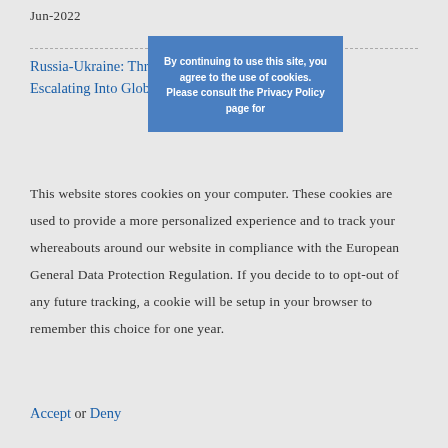Jun-2022
Russia-Ukraine: Threat of Local Cyber Operations Escalating Into Global Conflict — Jun-2022
[Figure (screenshot): Cookie consent overlay banner with blue background reading: 'By continuing to use this site, you agree to the use of cookies. Please consult the Privacy Policy page for']
This website stores cookies on your computer. These cookies are used to provide a more personalized experience and to track your whereabouts around our website in compliance with the European General Data Protection Regulation. If you decide to to opt-out of any future tracking, a cookie will be setup in your browser to remember this choice for one year.
Accept or Deny